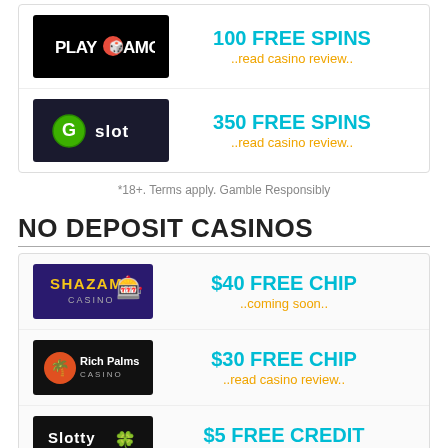[Figure (logo): PlayAmo Casino logo - black background]
100 FREE SPINS
..read casino review..
[Figure (logo): GSlot Casino logo - dark background with green G]
350 FREE SPINS
..read casino review..
*18+. Terms apply. Gamble Responsibly
NO DEPOSIT CASINOS
[Figure (logo): Shazam Casino logo - purple/dark background]
$40 FREE CHIP
..coming soon..
[Figure (logo): Rich Palms Casino logo - black background]
$30 FREE CHIP
..read casino review..
[Figure (logo): Slotty Way Casino logo - black background]
$5 FREE CREDIT
..read casino review..
[Figure (logo): Desert Nights Casino logo - black background]
$10 FREE CHIP
..read casino review..